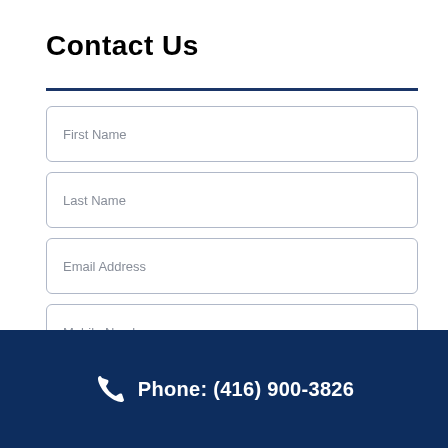Contact Us
First Name
Last Name
Email Address
Mobile Number
Phone: (416) 900-3826